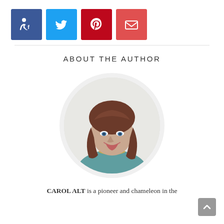[Figure (infographic): Row of four social media / sharing icon buttons: accessibility+Facebook (dark blue), Twitter (light blue), Pinterest (dark red), Email (red-pink)]
ABOUT THE AUTHOR
[Figure (photo): Circular portrait photo of Carol Alt, a woman with long brown hair, blue eyes, and a warm smile, wearing a teal top and gold necklace.]
CAROL ALT is a pioneer and chameleon in the